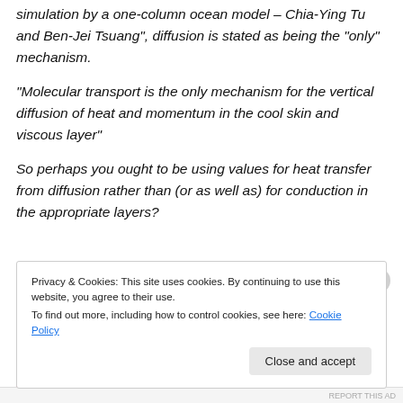simulation by a one-column ocean model – Chia-Ying Tu and Ben-Jei Tsuang", diffusion is stated as being the “only” mechanism.
“Molecular transport is the only mechanism for the vertical diffusion of heat and momentum in the cool skin and viscous layer”
So perhaps you ought to be using values for heat transfer from diffusion rather than (or as well as) for conduction in the appropriate layers?
Privacy & Cookies: This site uses cookies. By continuing to use this website, you agree to their use.
To find out more, including how to control cookies, see here: Cookie Policy